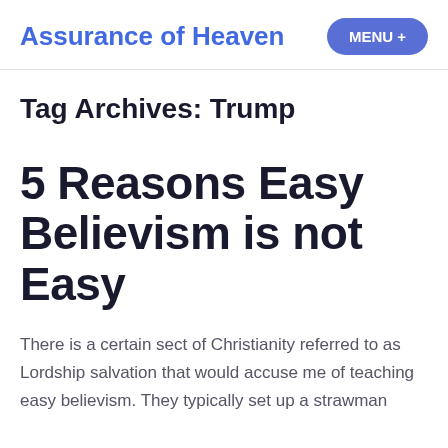Assurance of Heaven
Tag Archives: Trump
5 Reasons Easy Believism is not Easy
There is a certain sect of Christianity referred to as Lordship salvation that would accuse me of teaching easy believism. They typically set up a strawman